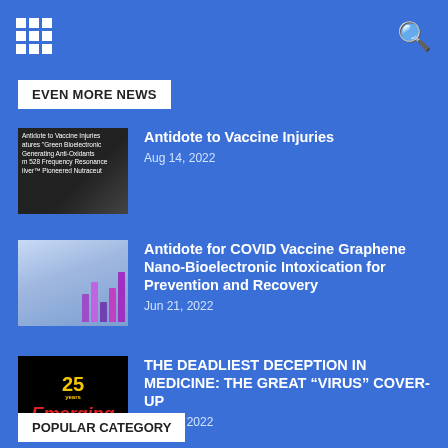EVEN MORE NEWS
Antidote to Vaccine Injuries
Aug 14, 2022
Antidote for COVID Vaccine Graphene Nano-Bioelectronic Intoxication for Prevention and Recovery
Jun 21, 2022
THE DEADLIEST DECEPTION IN MEDICINE: THE GREAT “VIRUS” COVER-UP
Jun 16, 2022
POPULAR CATEGORY